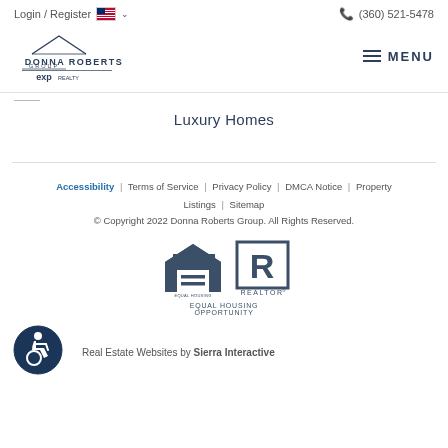Login / Register | (360) 521-5478
[Figure (logo): Donna Roberts Group eXp Realty logo with house roof outline]
MENU
Luxury Homes
Accessibility | Terms of Service | Privacy Policy | DMCA Notice | Property Listings | Sitemap
© Copyright 2022 Donna Roberts Group. All Rights Reserved.
[Figure (logo): Equal Housing Opportunity logo and REALTOR logo]
Real Estate Websites by Sierra Interactive